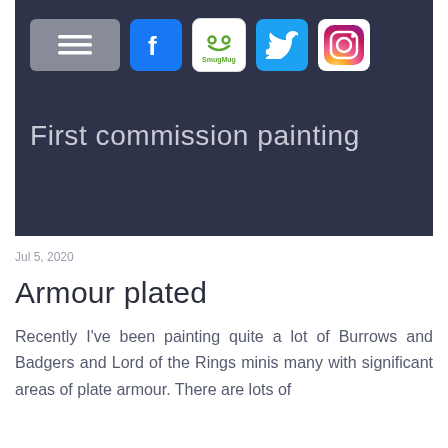[Figure (screenshot): Website header banner with dark navy background showing social media icons (hamburger menu, Facebook, SmugMug, Twitter, Instagram) and the page title 'First commission painting']
Jul 5, 2020
Armour plated
Recently I've been painting quite a lot of Burrows and Badgers and Lord of the Rings minis many with significant areas of plate armour. There are lots of